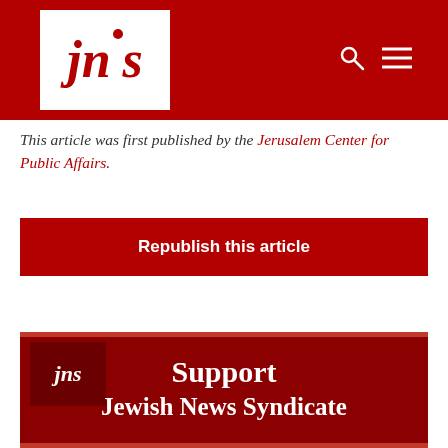jns
This article was first published by the Jerusalem Center for Public Affairs.
Republish this article
[Figure (logo): JNS Support Jewish News Syndicate banner with red background and JNS logo]
Support Jewish News Syndicate